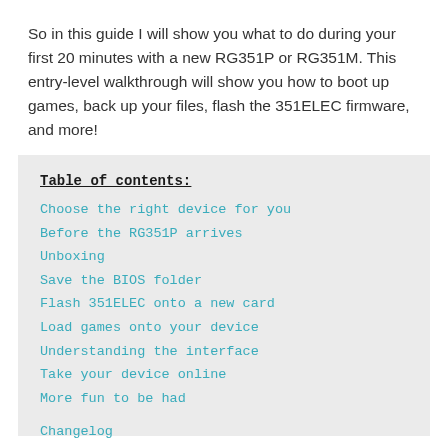So in this guide I will show you what to do during your first 20 minutes with a new RG351P or RG351M. This entry-level walkthrough will show you how to boot up games, back up your files, flash the 351ELEC firmware, and more!
Table of contents:
Choose the right device for you
Before the RG351P arrives
Unboxing
Save the BIOS folder
Flash 351ELEC onto a new card
Load games onto your device
Understanding the interface
Take your device online
More fun to be had
Changelog